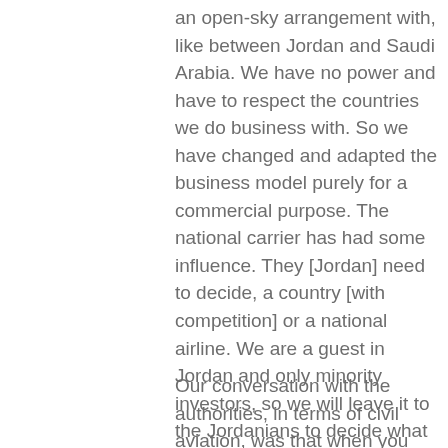an open-sky arrangement with, like between Jordan and Saudi Arabia. We have no power and have to respect the countries we do business with. So we have changed and adapted the business model purely for a commercial purpose. The national carrier has had some influence. They [Jordan] need to decide, a country [with competition] or a national airline. We are a guest in Jordan and only minority investors, so we will leave it to the Jordanians to decide what they would like and we would be very happy to take whatever position they wish us to take.
Our conversation with the authorities, in terms of civil aviation, was that when you are able to provide us with more routes that make commercial sense and are able to operate in line with the Jordanian regulation on foreign investments and joint ventures in